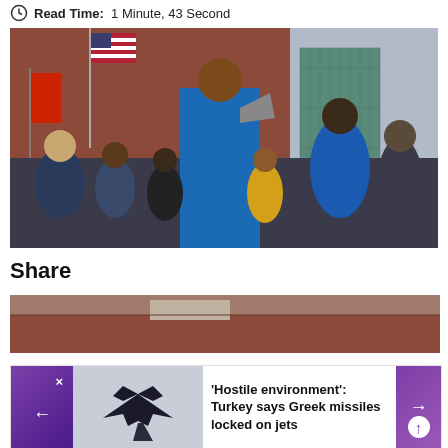Read Time: 1 Minute, 43 Second
[Figure (photo): A woman in a blue t-shirt speaking into a megaphone at an outdoor rally. A crowd of people wearing masks surrounds her, with an American flag visible and a brick building in the background.]
Share
[Figure (photo): Partial view of a brick building rooftop, cropped.]
[Figure (photo): A military jet aircraft silhouetted against a gray sky.]
'Hostile environment': Turkey says Greek missiles locked on jets